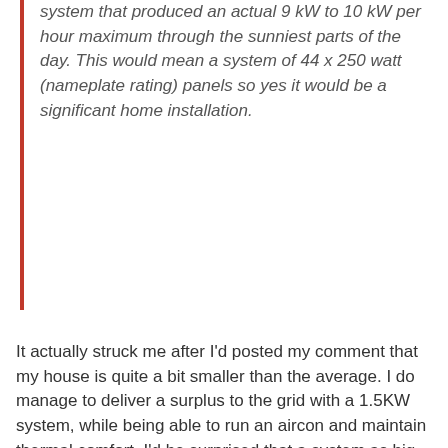system that produced an actual 9 kW to 10 kW per hour maximum through the sunniest parts of the day. This would mean a system of 44 x 250 watt (nameplate rating) panels so yes it would be a significant home installation.
It actually struck me after I'd posted my comment that my house is quite a bit smaller than the average. I do manage to deliver a surplus to the grid with a 1.5KW system, while being able to run an aircon and maintain thermal comfort. I'd be surprised that a system as big as 9-10KW would be necessary to do the job you describe, although it would certianly accomplish it with ease, and probably enable casual, rather than considered, aircon use. Mind you I haven't bothered to try to calculate it so it's entirely possible that a system that